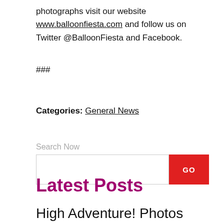photographs visit our website www.balloonfiesta.com and follow us on Twitter @BalloonFiesta and Facebook.
###
Categories: General News
Search Now
Latest Posts
High Adventure! Photos and Videos from the 24th America's Challenge